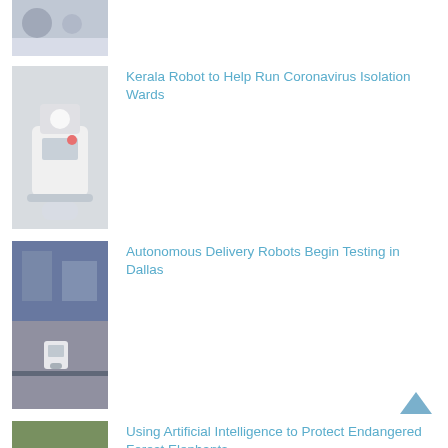[Figure (photo): Partial view of a person sitting at a table, cropped at top]
[Figure (photo): White robot device resembling a dispensing unit]
Kerala Robot to Help Run Coronavirus Isolation Wards
[Figure (photo): Street scene with autonomous delivery robot on sidewalk]
Autonomous Delivery Robots Begin Testing in Dallas
[Figure (photo): Elephants near water in a forest setting]
Using Artificial Intelligence to Protect Endangered Forest Elephants
[Figure (photo): Suburban house exterior]
MIT Engineers Helping Delivery Robots Find the Front Door